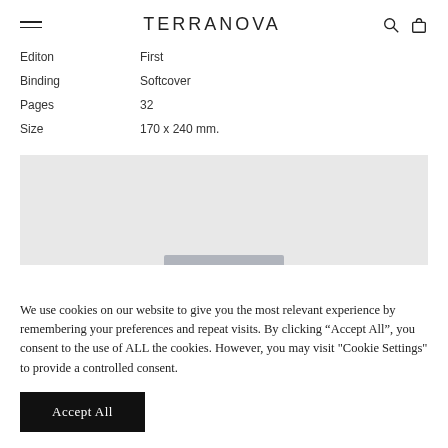TERRANOVA
|  |  |
| --- | --- |
| Editon | First |
| Binding | Softcover |
| Pages | 32 |
| Size | 170 x 240 mm. |
[Figure (screenshot): Gray placeholder image area with a darker gray scroll handle at the bottom center]
We use cookies on our website to give you the most relevant experience by remembering your preferences and repeat visits. By clicking “Accept All”, you consent to the use of ALL the cookies. However, you may visit “Cookie Settings” to provide a controlled consent.
Accept All